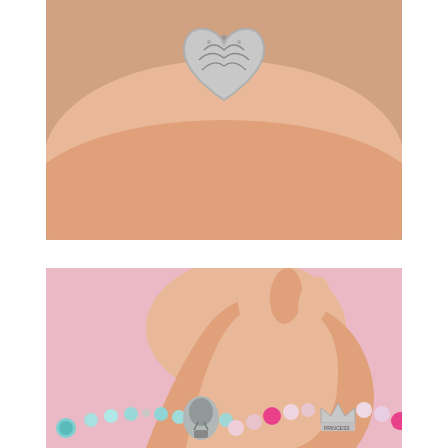[Figure (photo): Close-up photo of a child's wrist wearing a silver filigree heart-shaped bracelet charm against skin background.]
[Figure (photo): Close-up photo of a child's hand wearing multiple colorful bead bracelets with charms including a silver hot air balloon charm and a silver 'PRINCESS' crown charm, with pink, blue/teal, and clear crystal beads.]